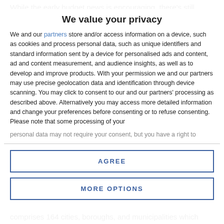While the early budget news is encouraging, there's still
We value your privacy
We and our partners store and/or access information on a device, such as cookies and process personal data, such as unique identifiers and standard information sent by a device for personalised ads and content, ad and content measurement, and audience insights, as well as to develop and improve products. With your permission we and our partners may use precise geolocation data and identification through device scanning. You may click to consent to our and our partners' processing as described above. Alternatively you may access more detailed information and change your preferences before consenting or to refuse consenting. Please note that some processing of your personal data may not require your consent, but you have a right to
AGREE
MORE OPTIONS
comprises 164 cities, boroughs, and municipalities which